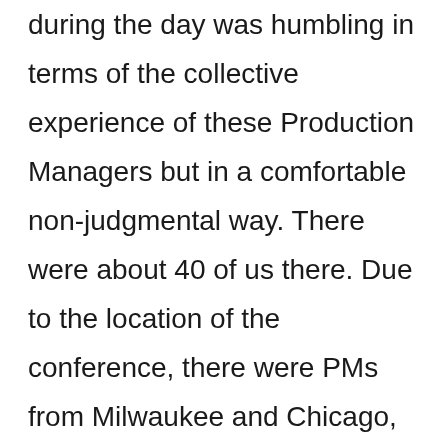during the day was humbling in terms of the collective experience of these Production Managers but in a comfortable non-judgmental way. There were about 40 of us there. Due to the location of the conference, there were PMs from Milwaukee and Chicago, but others who came a further distance, from Boston, New Haven, and Oregon, as well as three of us from Southern California.
Saturday morning we started the day off